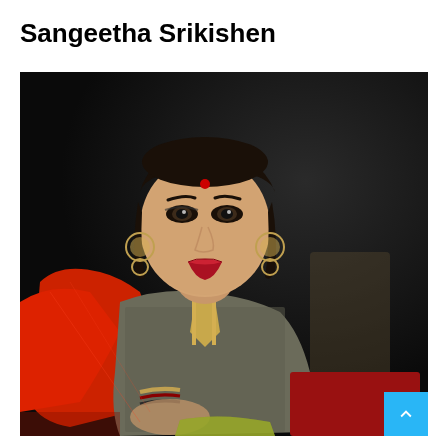Sangeetha Srikishen
[Figure (photo): Portrait photograph of Sangeetha Srikishen, an Indian woman wearing a gray patterned salwar suit with red dupatta and red bindi, seated and smiling, with dark background]